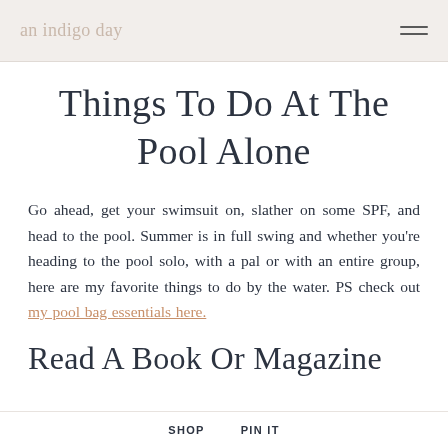an indigo day
Things To Do At The Pool Alone
Go ahead, get your swimsuit on, slather on some SPF, and head to the pool. Summer is in full swing and whether you're heading to the pool solo, with a pal or with an entire group, here are my favorite things to do by the water. PS check out my pool bag essentials here.
Read A Book Or Magazine
SHOP   PIN IT